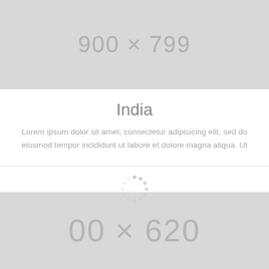[Figure (other): Gray image placeholder showing dimensions '900 × 799']
India
Lorem ipsum dolor sit amet, consectetur adipisicing elit, sed do eiusmod tempor incididunt ut labore et dolore magna aliqua. Ut
[Figure (other): Circular loading spinner icon (dashed circle)]
[Figure (other): Gray image placeholder showing partial dimensions '00 × 620']